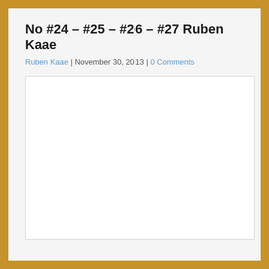No #24 – #25 – #26 – #27 Ruben Kaae
Ruben Kaae | November 30, 2013 | 0 Comments
[Figure (photo): Large white/blank image area with a light border, appearing as an embedded media or photo placeholder]